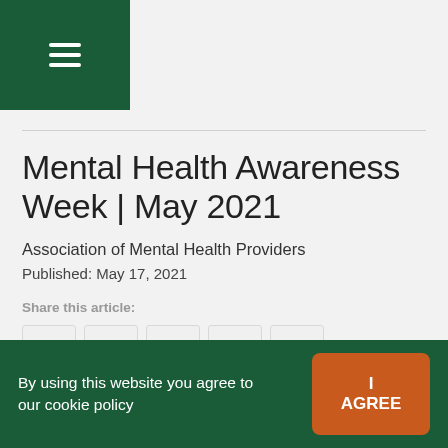[Figure (other): Dark green navigation bar with hamburger menu icon (three white horizontal lines)]
Mental Health Awareness Week | May 2021
Association of Mental Health Providers
Published: May 17, 2021
Share this article:
[Figure (other): Social share buttons: Facebook, Twitter, LinkedIn, Google+, Email]
By using this website you agree to our cookie policy  I AGREE